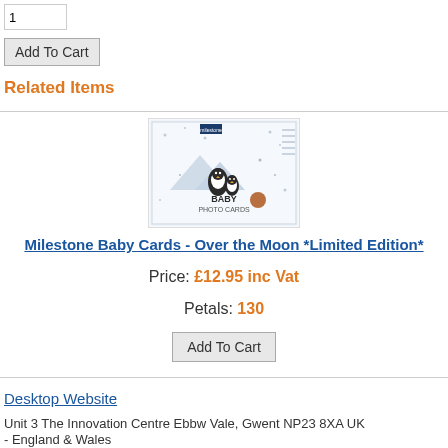1
Add To Cart
Related Items
[Figure (photo): Product image of Milestone Baby Cards - Over the Moon, showing a box labeled 'BABY PHOTO CARDS' with penguin illustrations]
Milestone Baby Cards - Over the Moon *Limited Edition*
Price: £12.95 inc Vat
Petals: 130
Add To Cart
Desktop Website
Unit 3 The Innovation Centre Ebbw Vale, Gwent NP23 8XA UK
- England & Wales